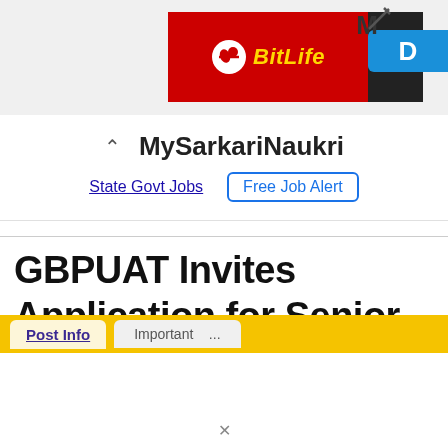[Figure (screenshot): Advertisement banner showing BitLife game logo on red background with black and blue sections, partially cut off]
MySarkariNaukri
State Govt Jobs   Free Job Alert
GBPUAT Invites Application for Senior Research Fellow Recruitment 2022